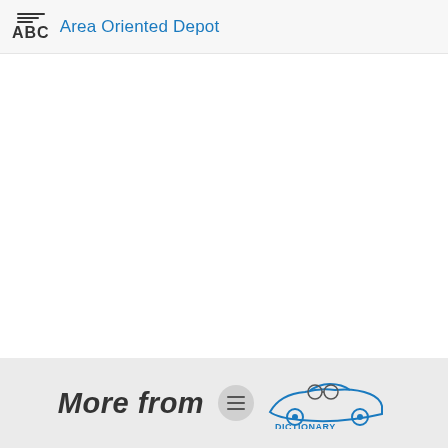Area Oriented Depot
[Figure (logo): ABC abbreviation icon with stacked lines above the letters, followed by the text 'Area Oriented Depot' in blue]
More from [The Free Dictionary logo]